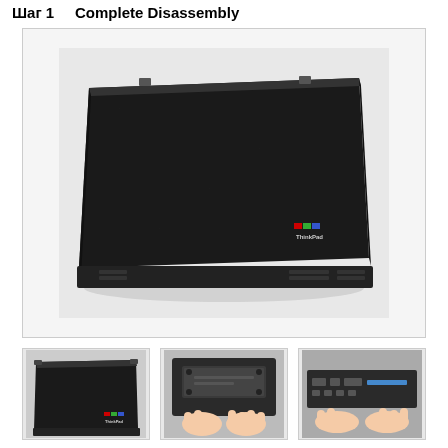Шаг 1    Complete Disassembly
[Figure (photo): IBM ThinkPad laptop closed, showing the black lid from above with IBM ThinkPad logo in bottom-right corner]
[Figure (photo): ThinkPad laptop closed lid, small thumbnail view from above]
[Figure (photo): Hands removing or inserting a component (battery/drive) from the bottom of a ThinkPad laptop]
[Figure (photo): Side/front view of ThinkPad laptop with hands manipulating a component]